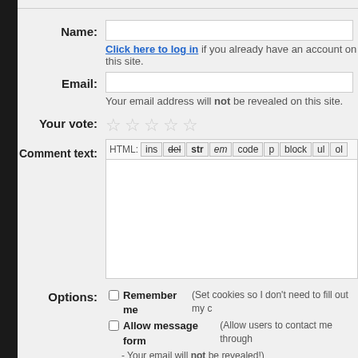Name:
Click here to log in if you already have an account on this site.
Email:
Your email address will not be revealed on this site.
Your vote: (5 stars)
Comment text: HTML: ins del str em code p block ul ol...
Options: Remember me (Set cookies so I don't need to fill out my ...) Allow message form (Allow users to contact me through ... - Your email will not be revealed!) Notify me of replies
Captcha question: What goes meow?